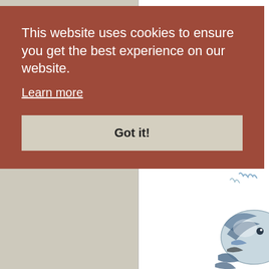This website uses cookies to ensure you get the best experience on our website.
Learn more
Got it!
[Figure (illustration): Partial view of a stylized cartoon fish or sea creature with blue and gray tones, visible in the lower right corner of the page]